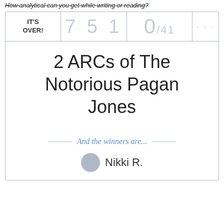How analytical can you get while writing or reading?
| IT'S OVER! | 7 5 1 | 0/41 | ... |
| --- | --- | --- | --- |
|  |  |  |  |
2 ARCs of The Notorious Pagan Jones
And the winners are...
Nikki R.